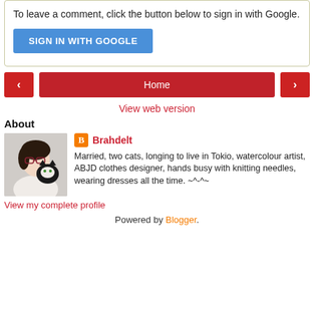To leave a comment, click the button below to sign in with Google.
[Figure (other): Blue 'SIGN IN WITH GOOGLE' button]
[Figure (other): Navigation row with left arrow button, Home button, and right arrow button]
View web version
About
[Figure (photo): Profile photo of a woman with glasses holding a black and white cat]
Brahdelt
Married, two cats, longing to live in Tokio, watercolour artist, ABJD clothes designer, hands busy with knitting needles, wearing dresses all the time. ~^-^~
View my complete profile
Powered by Blogger.